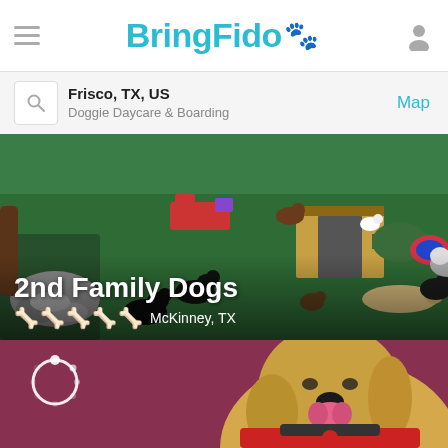BringFido
Frisco, TX, US | Doggie Daycare & Boarding | Map
[Figure (photo): Outdoor dog daycare play area with green artificial turf, multiple dogs playing, colorful play structures, wooden kennel structure in background]
2nd Family Dogs
★★★★★ McKinney, TX
[Figure (photo): Yellow Labrador dog wearing a red harness and collar with bone tag, sitting against a mauve/dark pink background, mouth open and tongue out, ears perked up. A circular loading/spinner icon is visible in the top left corner.]